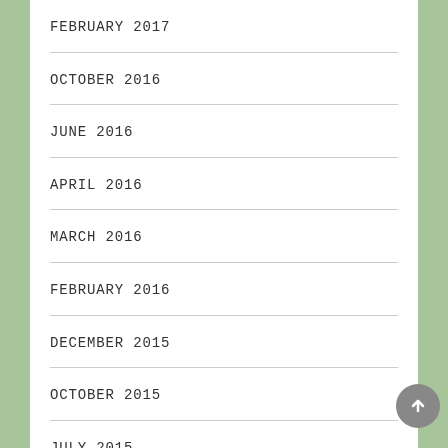FEBRUARY 2017
OCTOBER 2016
JUNE 2016
APRIL 2016
MARCH 2016
FEBRUARY 2016
DECEMBER 2015
OCTOBER 2015
JULY 2015